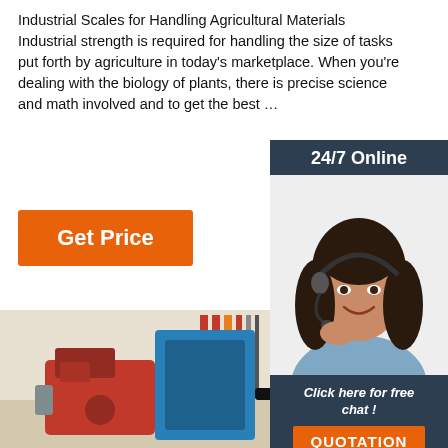Industrial Scales for Handling Agricultural Materials Industrial strength is required for handling the size of tasks put forth by agriculture in today's marketplace. When you're dealing with the biology of plants, there is precise science and math involved and to get the best …
[Figure (illustration): Orange 'Get Price' button]
[Figure (photo): 24/7 Online chat widget with a smiling female customer service representative wearing a headset, dark background sidebar with 'Click here for free chat!' text and an orange QUOTATION button]
[Figure (photo): Photo of industrial agricultural machinery — a red engine attached to a blue machine with large gear/wheel components, in a warehouse setting]